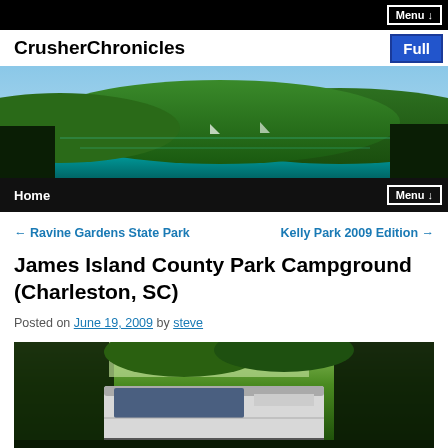Menu ↓
CrusherChronicles
[Figure (photo): Panoramic banner photo of tropical bay with turquoise water, green hills and blue sky]
Home  Menu ↓
← Ravine Gardens State Park   Kelly Park 2009 Edition →
James Island County Park Campground (Charleston, SC)
Posted on June 19, 2009 by steve
[Figure (photo): Photo of a large RV/motorhome parked among dense green trees at James Island County Park Campground]